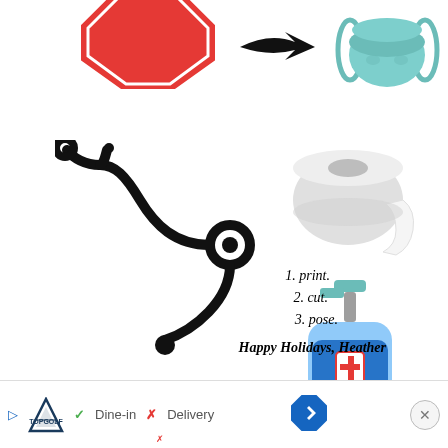[Figure (illustration): Red stop sign (partial, top cropped), black arrow pointing right, teal/green medical face mask - at top of page]
[Figure (illustration): Black stethoscope illustration on left side]
[Figure (illustration): Teal/blue hand sanitizer pump bottle with red cross on label]
[Figure (illustration): Gray toilet paper roll]
1. print.
2.  cut.
3. pose.
Happy Holidays, Heather
[Figure (infographic): Advertisement banner at bottom: TopGolf logo with play icon, checkmark Dine-in, X Delivery, blue navigation arrow diamond button, close X button]